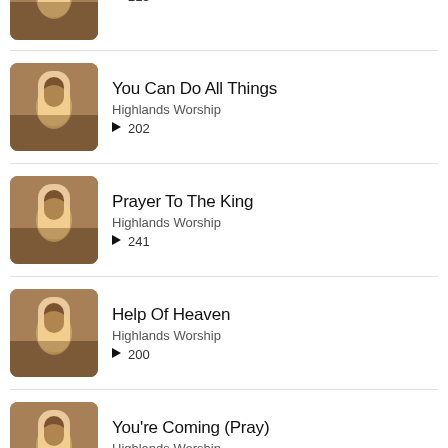▶ 215
You Can Do All Things | Highlands Worship | ▶ 202
Prayer To The King | Highlands Worship | ▶ 241
Help Of Heaven | Highlands Worship | ▶ 200
You're Coming (Pray) | Highlands Worship | ▶ 232